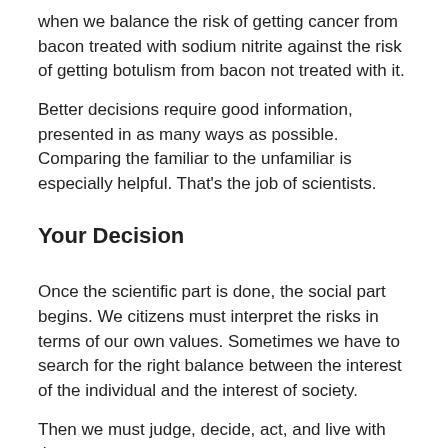when we balance the risk of getting cancer from bacon treated with sodium nitrite against the risk of getting botulism from bacon not treated with it.
Better decisions require good information, presented in as many ways as possible. Comparing the familiar to the unfamiliar is especially helpful. That's the job of scientists.
Your Decision
Once the scientific part is done, the social part begins. We citizens must interpret the risks in terms of our own values. Sometimes we have to search for the right balance between the interest of the individual and the interest of society.
Then we must judge, decide, act, and live with the consequences.
Read More: